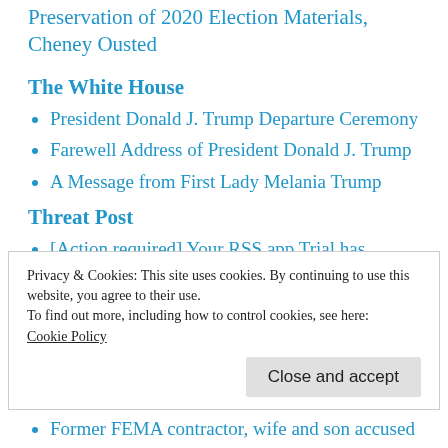Preservation of 2020 Election Materials, Cheney Ousted
The White House
President Donald J. Trump Departure Ceremony
Farewell Address of President Donald J. Trump
A Message from First Lady Melania Trump
Threat Post
[Action required] Your RSS.app Trial has Expired – Thu Apr 22 2021
BazarLoader Malware Abuses Slack, BaseCamp
Privacy & Cookies: This site uses cookies. By continuing to use this website, you agree to their use.
To find out more, including how to control cookies, see here:
Cookie Policy
Former FEMA contractor, wife and son accused